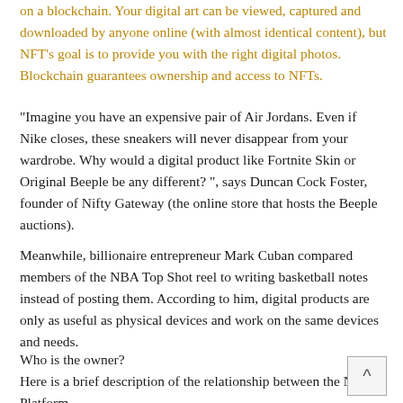on a blockchain. Your digital art can be viewed, captured and downloaded by anyone online (with almost identical content), but NFT's goal is to provide you with the right digital photos. Blockchain guarantees ownership and access to NFTs.
“Imagine you have an expensive pair of Air Jordans. Even if Nike closes, these sneakers will never disappear from your wardrobe. Why would a digital product like Fortnite Skin or Original Beeple be any different? ”, says Duncan Cock Foster, founder of Nifty Gateway (the online store that hosts the Beeple auctions).
Meanwhile, billionaire entrepreneur Mark Cuban compared members of the NBA Top Shot reel to writing basketball notes instead of posting them. According to him, digital products are only as useful as physical devices and work on the same devices and needs.
Who is the owner?
Here is a brief description of the relationship between the NFT Platform,